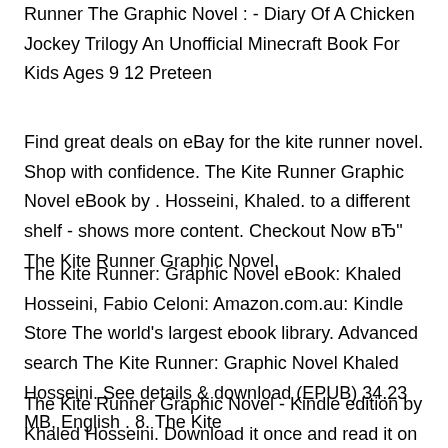Runner The Graphic Novel : - Diary Of A Chicken Jockey Trilogy An Unofficial Minecraft Book For Kids Ages 9 12 Preteen
Find great deals on eBay for the kite runner novel. Shop with confidence. The Kite Runner Graphic Novel eBook by . Hosseini, Khaled. to a different shelf - shows more content. Checkout Now вЂ" The Kite Runner Graphic Novel,
The Kite Runner: Graphic Novel eBook: Khaled Hosseini, Fabio Celoni: Amazon.com.au: Kindle Store The world's largest ebook library. Advanced search The Kite Runner: Graphic Novel Khaled Hosseini. See details & download (EPUB) 34.23 MB, English . 8. The Kite
The Kite Runner Graphic Novel - Kindle edition by Khaled Hosseini. Download it once and read it on your Kindle device,